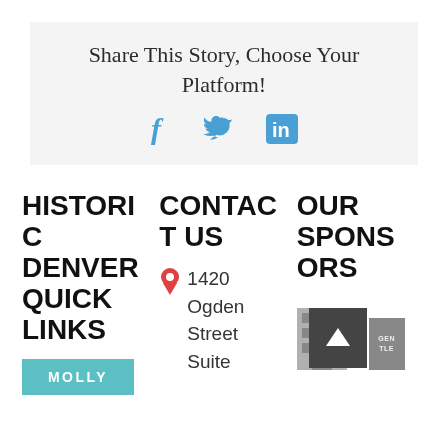Share This Story, Choose Your Platform!
[Figure (infographic): Social sharing icons: Facebook (f), Twitter (bird), LinkedIn (in) in blue]
HISTORIC DENVER QUICK LINKS
CONTACT US
1420 Ogden Street Suite
OUR SPONSORS
[Figure (logo): Sponsor logo with building illustration and dark box with up arrow, plus gray logo block with 'GENTLE' text]
[Figure (logo): Teal box with text MOLLY]